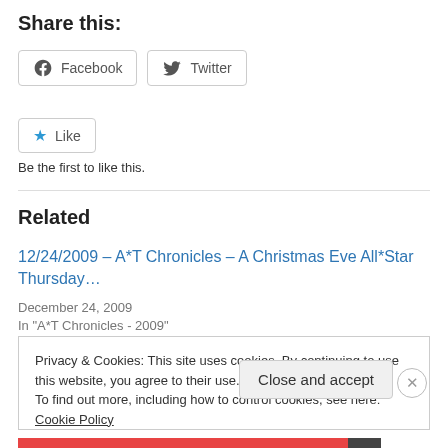Share this:
[Figure (other): Facebook and Twitter share buttons]
[Figure (other): Like button with star icon]
Be the first to like this.
Related
12/24/2009 – A*T Chronicles – A Christmas Eve All*Star Thursday…
December 24, 2009
In "A*T Chronicles - 2009"
Privacy & Cookies: This site uses cookies. By continuing to use this website, you agree to their use.
To find out more, including how to control cookies, see here: Cookie Policy